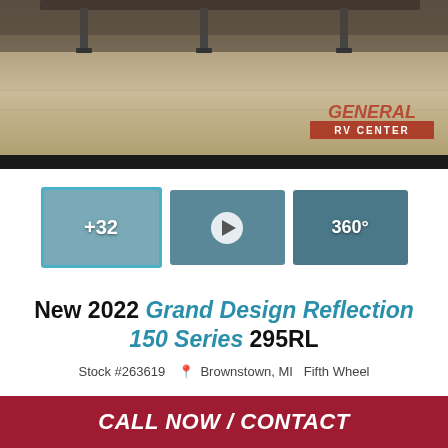[Figure (photo): Main photo of a fifth wheel RV trailer in a dealership showroom, shot from a low angle showing the undercarriage and floor area, with a General RV Center watermark logo in the bottom right corner]
[Figure (photo): Row of three thumbnail images: first thumbnail shows RV interior with +32 overlay text and teal border, second shows RV interior with a video play button overlay, third shows RV exterior with 360 degree tour icon overlay]
New 2022 Grand Design Reflection 150 Series 295RL
Stock #263619  📍 Brownstown, MI   Fifth Wheel
CALL NOW / CONTACT